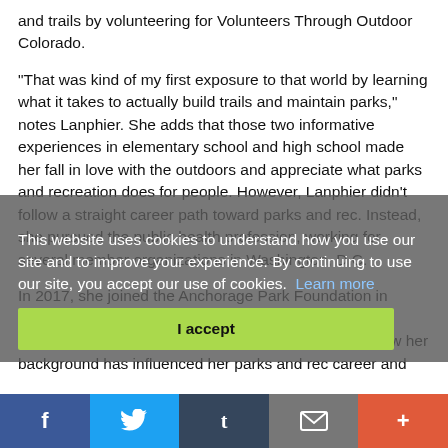and trails by volunteering for Volunteers Through Outdoor Colorado.
“That was kind of my first exposure to that world by learning what it takes to actually build trails and maintain parks,” notes Lanphier. She adds that those two informative experiences in elementary school and high school made her fall in love with the outdoors and appreciate what parks and recreation does for people. However, Lanphier didn’t follow a straight career path toward parks and rec. Instead, she pursued the public health profession, working for several member organizations in Washington, D.C.
In 2017, she joined the Anchorage Park Foundation in Alaska as its community outreach director. Parks & Recreation magazine recently talked to her to learn how her background has influenced her parks and rec career and the biggest challenges to getting people to think about their own health.
This website uses cookies to understand how you use our site and to improve your experience. By continuing to use our site, you accept our use of cookies.  Learn more
I accept
Parks & Recreation: As someone formally trained in public